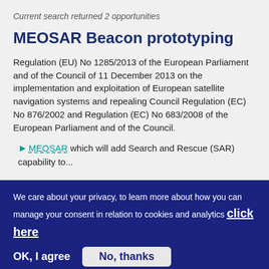Current search returned 2 opportunities
MEOSAR Beacon prototyping
Regulation (EU) No 1285/2013 of the European Parliament and of the Council of 11 December 2013 on the implementation and exploitation of European satellite navigation systems and repealing Council Regulation (EC) No 876/2002 and Regulation (EC) No 683/2008 of the European Parliament and of the Council.
MEOSAR which will add Search and Rescue (SAR) capability to...
We care about your privacy, to learn more about how you can manage your consent in relation to cookies and analytics click here
OK, I agree   No, thanks